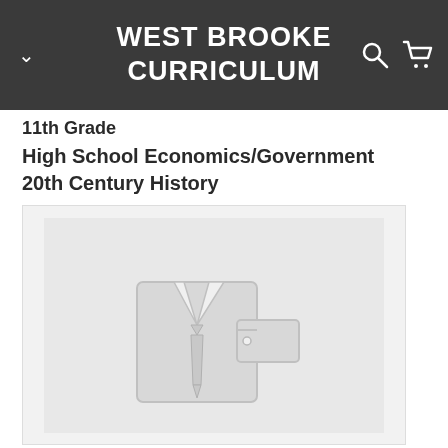WEST BROOKE CURRICULUM
11th Grade
High School Economics/Government
20th Century History
[Figure (illustration): A placeholder product image showing a shirt with a tie and a price tag icon, rendered in light gray on a light gray background.]